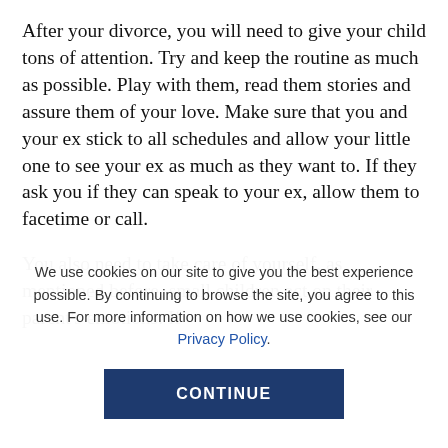After your divorce, you will need to give your child tons of attention. Try and keep the routine as much as possible. Play with them, read them stories and assure them of your love. Make sure that you and your ex stick to all schedules and allow your little one to see your ex as much as they want to. If they ask you if they can speak to your ex, allow them to facetime or call.
You also need to take care of yourself, as mentioned before, small children act on their parent's emotions. If
We use cookies on our site to give you the best experience possible. By continuing to browse the site, you agree to this use. For more information on how we use cookies, see our Privacy Policy.